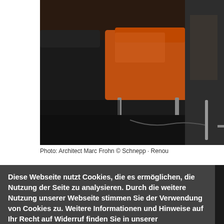[Figure (photo): Interior scene showing black leather chairs and an orange chair in a dark-toned room, partially visible person on right]
Photo: Architect Marc Frohn © Schnepp · Renou
Diese Webseite nutzt Cookies, die es ermöglichen, die Nutzung der Seite zu analysieren. Durch die weitere Nutzung unserer Webseite stimmen Sie der Verwendung von Cookies zu. Weitere Informationen und Hinweise auf Ihr Recht auf Widerruf finden Sie in unserer Datenschutzerklärung.
Datenschutzerklärung
Ich stimme zu    Ich stimme nicht zu